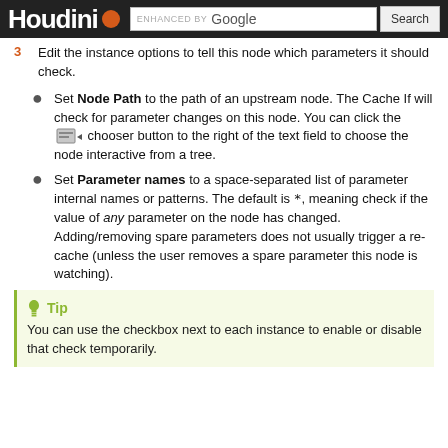Houdini [logo] ENHANCED BY Google [Search]
3  Edit the instance options to tell this node which parameters it should check.
Set Node Path to the path of an upstream node. The Cache If will check for parameter changes on this node. You can click the [chooser] chooser button to the right of the text field to choose the node interactive from a tree.
Set Parameter names to a space-separated list of parameter internal names or patterns. The default is *, meaning check if the value of any parameter on the node has changed. Adding/removing spare parameters does not usually trigger a re-cache (unless the user removes a spare parameter this node is watching).
Tip
You can use the checkbox next to each instance to enable or disable that check temporarily.